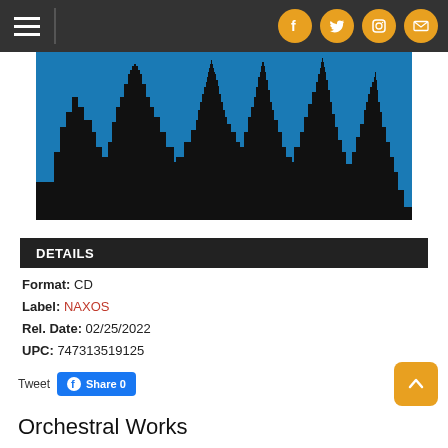Navigation bar with hamburger menu and social icons (Facebook, Twitter, Instagram, Email)
[Figure (illustration): London city skyline silhouette in black against a blue sky background]
DETAILS
Format: CD
Label: NAXOS
Rel. Date: 02/25/2022
UPC: 747313519125
Tweet  Share 0
Orchestral Works